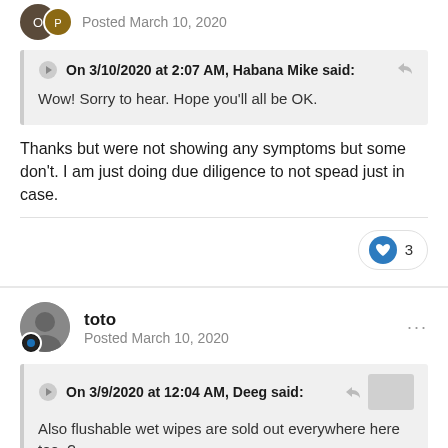Posted March 10, 2020
On 3/10/2020 at 2:07 AM, Habana Mike said:
Wow! Sorry to hear. Hope you'll all be OK.
Thanks but were not showing any symptoms but some don't. I am just doing due diligence to not spead just in case.
toto
Posted March 10, 2020
On 3/9/2020 at 12:04 AM, Deeg said:
Also flushable wet wipes are sold out everywhere here too. ?
Hong Kong is an interesting test case. Took a lot of heat for